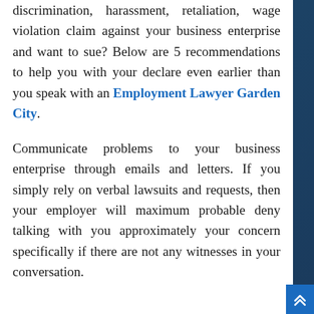discrimination, harassment, retaliation, wage violation claim against your business enterprise and want to sue? Below are 5 recommendations to help you with your declare even earlier than you speak with an Employment Lawyer Garden City.
Communicate problems to your business enterprise through emails and letters. If you simply rely on verbal lawsuits and requests, then your employer will maximum probable deny talking with you approximately your concern specifically if there are not any witnesses in your conversation.